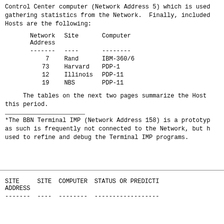Control Center computer (Network Address 5) which is used
gathering statistics from the Network.  Finally, included
Hosts are the following:
| Network
Address | Site | Computer |
| --- | --- | --- |
| ------- | ---- | -------- |
| 7 | Rand | IBM-360/6 |
| 73 | Harvard | PDP-1 |
| 12 | Illinois | PDP-11 |
| 19 | NBS | PDP-11 |
The tables on the next two pages summarize the Host
this period.
*The BBN Terminal IMP (Network Address 158) is a prototyp
as such is frequently not connected to the Network, but h
used to refine and debug the Terminal IMP programs.
| SITE
ADDRESS | SITE | COMPUTER | STATUS OR PREDICTI |
| --- | --- | --- | --- |
| ------- | ---- | -------- | ------------------ |